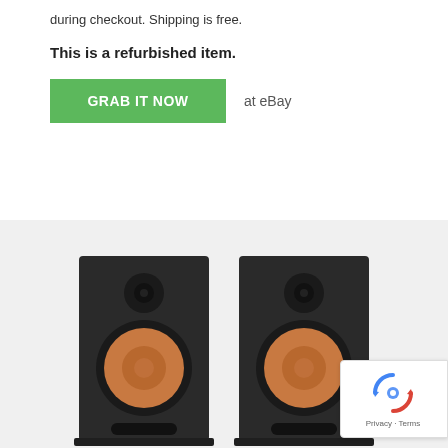during checkout. Shipping is free.
This is a refurbished item.
GRAB IT NOW  at eBay
[Figure (photo): Two black bookshelf speakers (Klipsch-style) with copper/orange woofer cones and small tweeter domes, sitting on a light background.]
[Figure (logo): Google reCAPTCHA badge with spinning arrows icon and 'Privacy - Terms' text.]